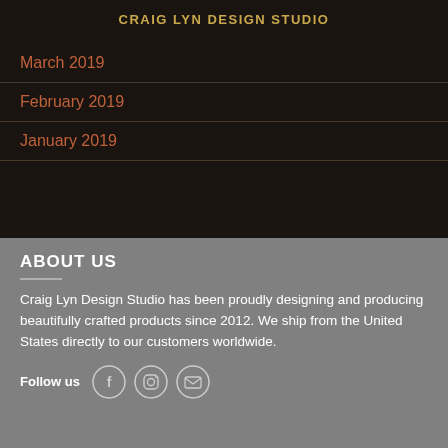CRAIG LYN DESIGN STUDIO
March 2019
February 2019
January 2019
ABOUT US
Craig Lyn Design Studio has been proudly designing and producing beautifully crafted products since 2012. We ship from the United States directly to our customers worldwide.
Follow us